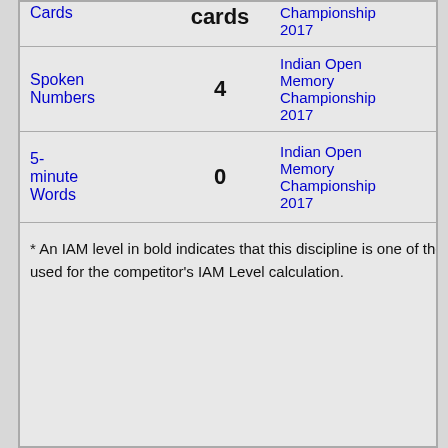| Discipline | IAM Level | Competition | Score |
| --- | --- | --- | --- |
| Cards | cards | Championship 2017 |  |
| Spoken Numbers | 4 | Indian Open Memory Championship 2017 | 319 |
| 5-minute Words | 0 | Indian Open Memory Championship 2017 | 245 |
* An IAM level in bold indicates that this discipline is one of the best 10 used for the competitor's IAM Level calculation.